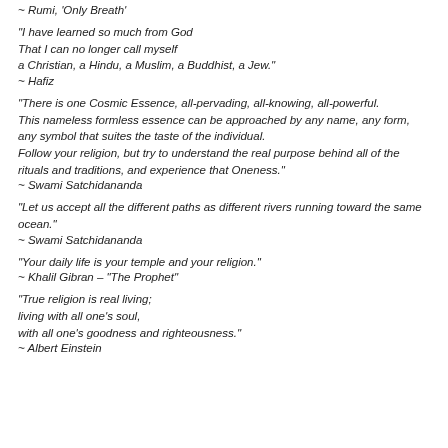~ Rumi, 'Only Breath'
"I have learned so much from God
That I can no longer call myself
a Christian, a Hindu, a Muslim, a Buddhist, a Jew."
~ Hafiz
"There is one Cosmic Essence, all-pervading, all-knowing, all-powerful.
This nameless formless essence can be approached by any name, any form, any symbol that suites the taste of the individual.
Follow your religion, but try to understand the real purpose behind all of the rituals and traditions, and experience that Oneness."
~ Swami Satchidananda
"Let us accept all the different paths as different rivers running toward the same ocean."
~ Swami Satchidananda
"Your daily life is your temple and your religion."
~ Khalil Gibran – "The Prophet"
"True religion is real living;
living with all one's soul,
with all one's goodness and righteousness."
~ Albert Einstein